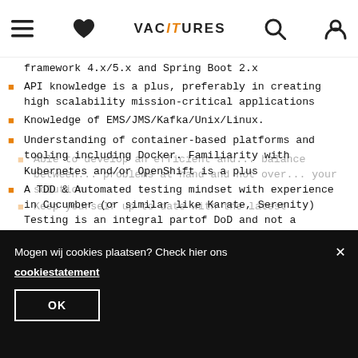IT Vacatures – navigation header with menu, heart, logo, search, and account icons
framework 4.x/5.x and Spring Boot 2.x
API knowledge is a plus, preferably in creating high scalability mission-critical applications
Knowledge of EMS/JMS/Kafka/Unix/Linux.
Understanding of container-based platforms and tooling including Docker. Familiarity with Kubernetes and/or OpenShift is a plus
A TDD & Automated testing mindset with experience in Cucumber (or similar like Karate, Serenity) Testing is an integral partof DoD and not a seperate activity
Good understanding of DevOps practices including Git, CI/CD, test automation and monitoring.....and Azure
Able to develop an efficient and... balance between... problems at hand and not over... your solution
Keep yourself up to date with the latest
Mogen wij cookies plaatsen? Check hier ons cookiestatement
OK